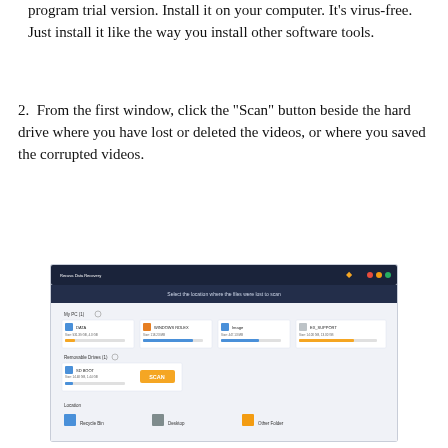program trial version. Install it on your computer. It's virus-free. Just install it like the way you install other software tools.
2. From the first window, click the "Scan" button beside the hard drive where you have lost or deleted the videos, or where you saved the corrupted videos.
[Figure (screenshot): Screenshot of a data recovery software showing a window with the prompt 'Select the location where the files were lost to scan', displaying several drive options (DATA, WINDOWS RDLEX, Image, EX_SUPPORT) and a Recycle Bin, Desktop, and Other Folder option, with a Scan button.]